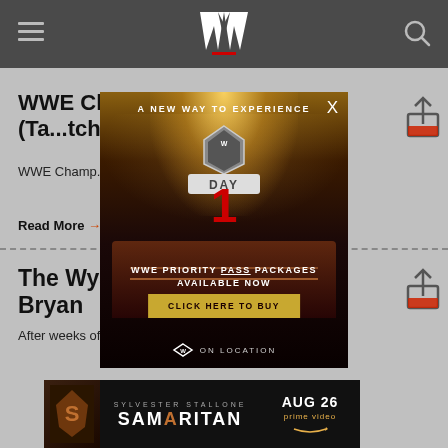WWE (navigation header with logo, menu, search)
WWE Cha... World He... Cena (Ta...ch)
WWE Champ... weight Champion J... e Match)
Read More →
[Figure (screenshot): WWE Day 1 popup advertisement: 'A NEW WAY TO EXPERIENCE' with WWE Day 1 logo, 'WWE PRIORITY PASS PACKAGES AVAILABLE NOW', 'CLICK HERE TO BUY' button, WWE On Location branding, crowd arena background]
The Wyatt Family def. Daniel Bryan
After weeks of attempting to convert Daniel Bryan, Bray...
[Figure (screenshot): Bottom ad banner: Sylvester Stallone Samaritan, AUG 26 prime video]